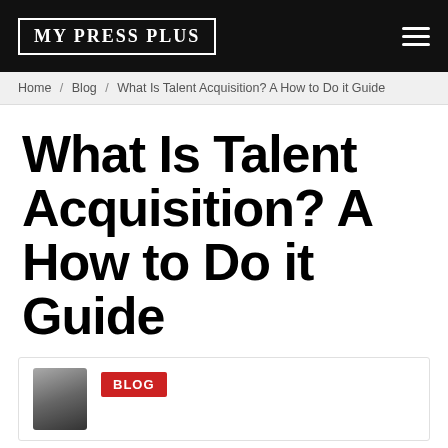MY PRESS PLUS
Home / Blog / What Is Talent Acquisition? A How to Do it Guide
What Is Talent Acquisition? A How to Do it Guide
BLOG